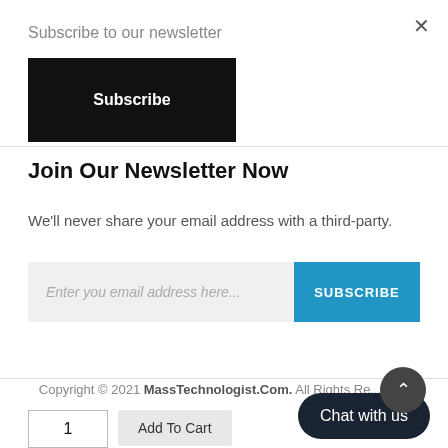Subscribe to our newsletter
Subscribe
Join Our Newsletter Now
We'll never share your email address with a third-party.
Enter you email address here...
SUBSCRIBE
Copyright © 2021 MassTechnologist.Com. All Rights Re...
Chat with us
1
Add To Cart